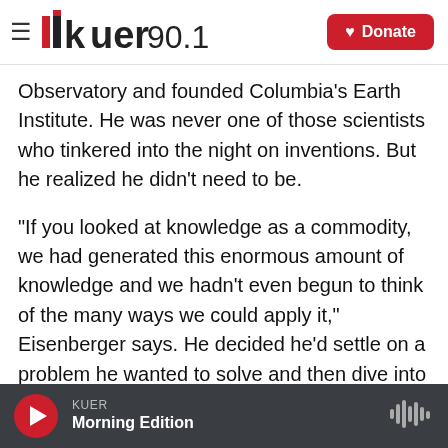KUER 90.1 — Donate
Observatory and founded Columbia's Earth Institute. He was never one of those scientists who tinkered into the night on inventions. But he realized he didn't need to be.
"If you looked at knowledge as a commodity, we had generated this enormous amount of knowledge and we hadn't even begun to think of the many ways we could apply it," Eisenberger says. He decided he'd settle on a problem he wanted to solve and then dive into the pool of knowledge for existing technologies that could help him.
KUER
Morning Edition